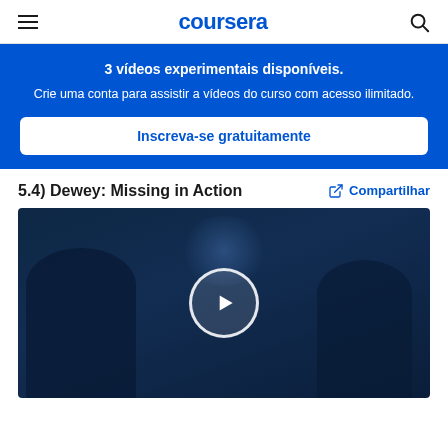coursera
3 vídeos experimentais disponíveis.
Crie uma conta para assistir a vídeos do curso com acesso ilimitado.
Inscreva-se gratuitamente
5.4) Dewey: Missing in Action
Compartilhar
[Figure (screenshot): Video thumbnail showing dark scene with two people and a play button circle overlay]